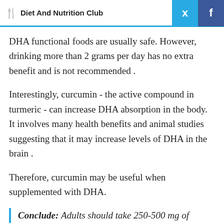Diet And Nutrition Club
DHA functional foods are usually safe. However, drinking more than 2 grams per day has no extra benefit and is not recommended .
Interestingly, curcumin - the active compound in turmeric - can increase DHA absorption in the body. It involves many health benefits and animal studies suggesting that it may increase levels of DHA in the brain .
Therefore, curcumin may be useful when supplemented with DHA.
Conclude: Adults should take 250-500 mg of